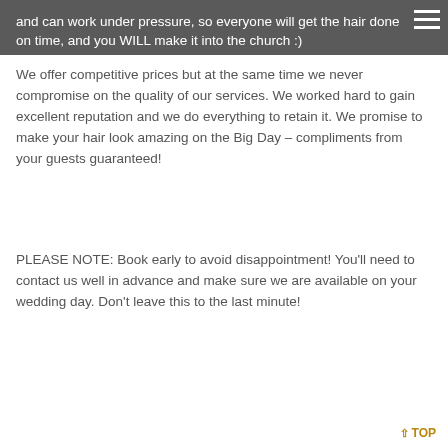and can work under pressure, so everyone will get the hair done on time, and you WILL make it into the church :)
We offer competitive prices but at the same time we never compromise on the quality of our services. We worked hard to gain excellent reputation and we do everything to retain it. We promise to make your hair look amazing on the Big Day – compliments from your guests guaranteed!
PLEASE NOTE: Book early to avoid disappointment! You'll need to contact us well in advance and make sure we are available on your wedding day. Don't leave this to the last minute!
↑ TOP